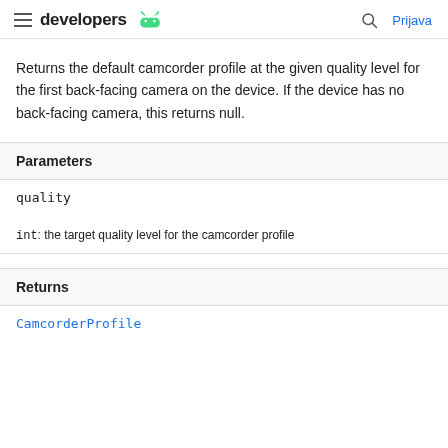developers | Prijava
Returns the default camcorder profile at the given quality level for the first back-facing camera on the device. If the device has no back-facing camera, this returns null.
| Parameters |
| --- |
| quality |
| int: the target quality level for the camcorder profile |
| Returns |
| --- |
| CamcorderProfile |